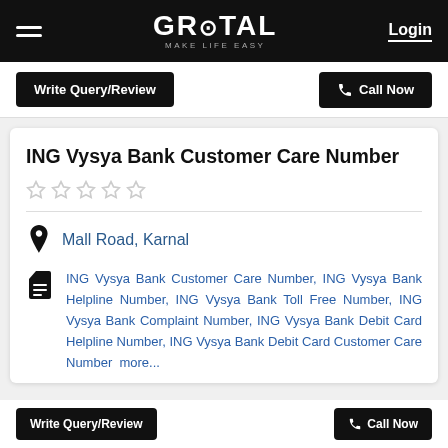GROTAL MAKE LIFE EASY — Login
Write Query/Review | Call Now
ING Vysya Bank Customer Care Number
★★★★★ (0 stars)
Mall Road, Karnal
ING Vysya Bank Customer Care Number, ING Vysya Bank Helpline Number, ING Vysya Bank Toll Free Number, ING Vysya Bank Complaint Number, ING Vysya Bank Debit Card Helpline Number, ING Vysya Bank Debit Card Customer Care Number  more...
Write Query/Review | Call Now